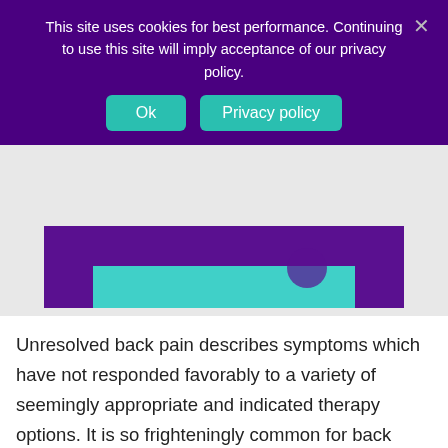This site uses cookies for best performance. Continuing to use this site will imply acceptance of our privacy policy.
[Figure (screenshot): Partial screenshot of a medical website with a purple header image showing a person, partially obscured by the cookie consent banner, with a teal/cyan colored banner strip visible at the bottom of the image.]
Unresolved back pain describes symptoms which have not responded favorably to a variety of seemingly appropriate and indicated therapy options. It is so frighteningly common for back ache to go on unchecked, despite the patient being under the care of one or more doctors. These patients feel lost in the world, since they are really trying to be cured and spending time, money and effort on the arduous process. Their doctors are hopefully trying just as hard to